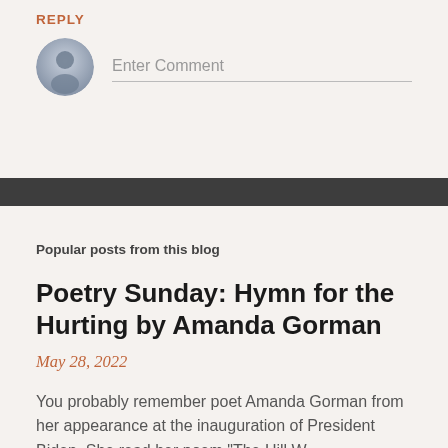REPLY
[Figure (illustration): Gray circular user avatar icon with a silhouette of a person]
Enter Comment
Popular posts from this blog
Poetry Sunday: Hymn for the Hurting by Amanda Gorman
May 28, 2022
You probably remember poet Amanda Gorman from her appearance at the inauguration of President Biden. She read her poem "The Hill W …